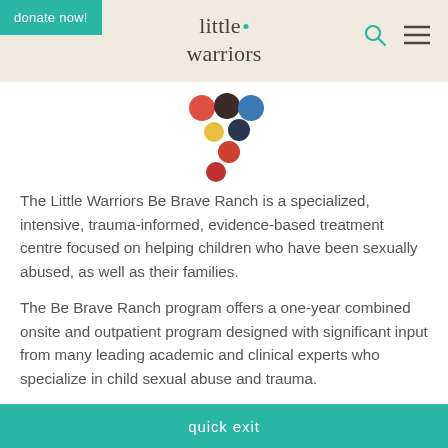donate now! | little warriors | [search icon] [menu icon]
[Figure (logo): Little Warriors logo: colorful circles (red, dark brown, blue, dark blue, yellow, orange-red, red) arranged in a grape cluster pattern]
The Little Warriors Be Brave Ranch is a specialized, intensive, trauma-informed, evidence-based treatment centre focused on helping children who have been sexually abused, as well as their families.
The Be Brave Ranch program offers a one-year combined onsite and outpatient program designed with significant input from many leading academic and clinical experts who specialize in child sexual abuse and trauma.
quick exit